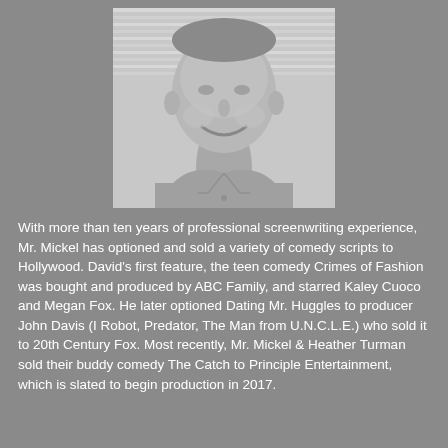[Figure (photo): Black and white photo of a smiling middle-aged man wearing a collared shirt, photographed indoors with blinds visible in the background.]
With more than ten years of professional screenwriting experience, Mr. Mickel has optioned and sold a variety of comedy scripts to Hollywood. David's first feature, the teen comedy Crimes of Fashion was bought and produced by ABC Family, and starred Kaley Cuoco and Megan Fox. He later optioned Dating Mr. Huggles to producer John Davis (I Robot, Predator, The Man from U.N.C.L.E.) who sold it to 20th Century Fox. Most recently, Mr. Mickel & Heather Turman sold their buddy comedy The Catch to Principle Entertainment, which is slated to begin production in 2017.